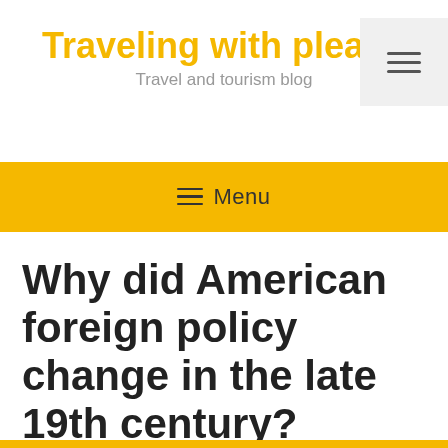Traveling with pleasure
Travel and tourism blog
☰ Menu
Why did American foreign policy change in the late 19th century?